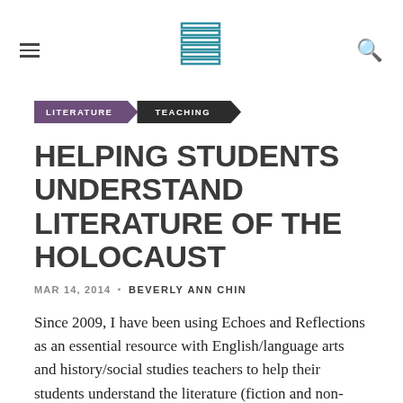[Figure (logo): Website logo with stacked horizontal lines forming an S-like shape in teal/dark outline style]
LITERATURE
TEACHING
HELPING STUDENTS UNDERSTAND LITERATURE OF THE HOLOCAUST
MAR 14, 2014  ·  BEVERLY ANN CHIN
Since 2009, I have been using Echoes and Reflections as an essential resource with English/language arts and history/social studies teachers to help their students understand the literature (fiction and non-fiction) of the